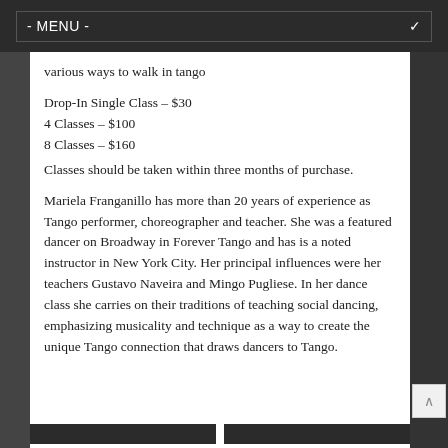- MENU -
various ways to walk in tango
Drop-In Single Class – $30
4 Classes – $100
8 Classes – $160
Classes should be taken within three months of purchase.
Mariela Franganillo has more than 20 years of experience as Tango performer, choreographer and teacher. She was a featured dancer on Broadway in Forever Tango and has is a noted instructor in New York City. Her principal influences were her teachers Gustavo Naveira and Mingo Pugliese. In her dance class she carries on their traditions of teaching social dancing, emphasizing musicality and technique as a way to create the unique Tango connection that draws dancers to Tango.